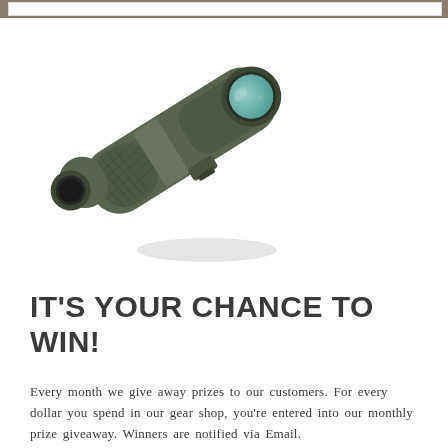[Figure (photo): A spotting scope (angled body, green/grey rubberized armor, teal-coated objective lens) photographed on a white background, oriented diagonally from upper-left to lower-right.]
IT'S YOUR CHANCE TO WIN!
Every month we give away prizes to our customers. For every dollar you spend in our gear shop, you're entered into our monthly prize giveaway. Winners are notified via Email.